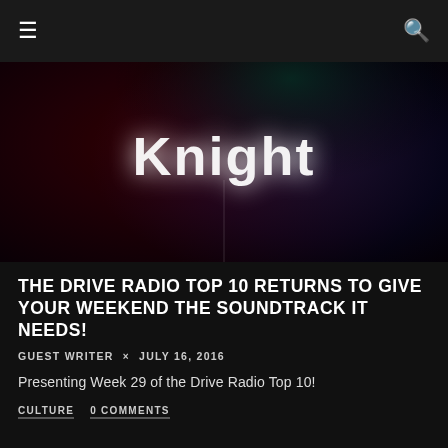≡   🔍
[Figure (photo): Dark cinematic image with 'Knight' text in stylized white lettering against a deep red and blue/purple gradient background with dark floral elements at top]
THE DRIVE RADIO TOP 10 RETURNS TO GIVE YOUR WEEKEND THE SOUNDTRACK IT NEEDS!
GUEST WRITER × JULY 16, 2016
Presenting Week 29 of the Drive Radio Top 10!
CULTURE   0 COMMENTS